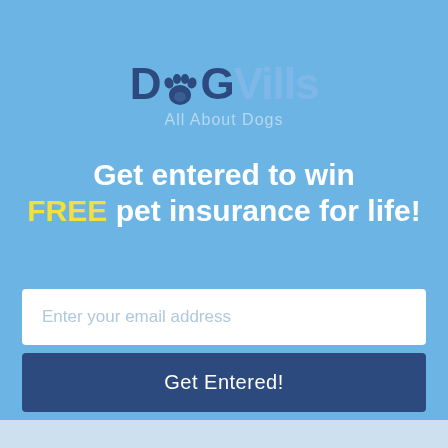[Figure (logo): DogVills logo with paw print replacing the letter o in Dog, text says DogVills All About Dogs]
Get entered to win FREE pet insurance for life!
Enter your email address
Get Entered!